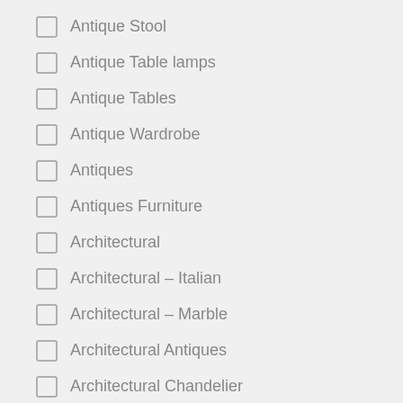Antique Stool
Antique Table lamps
Antique Tables
Antique Wardrobe
Antiques
Antiques Furniture
Architectural
Architectural – Italian
Architectural – Marble
Architectural Antiques
Architectural Chandelier
Architectural Floor Spotligh
Architectural interior